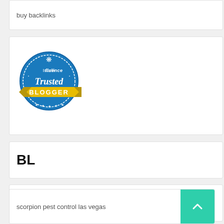buy backlinks
[Figure (logo): Intellifluence Trusted Blogger badge - circular blue badge with yellow ribbon banner]
BL
TL
scorpion pest control las vegas